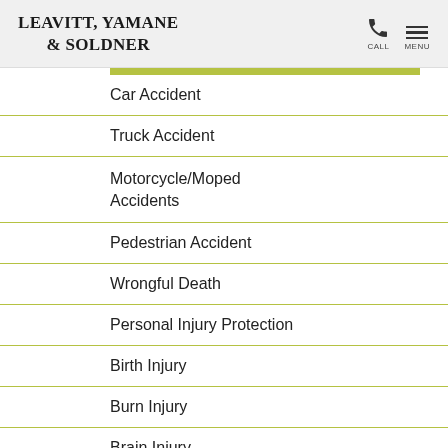LEAVITT, YAMANE & SOLDNER
Car Accident
Truck Accident
Motorcycle/Moped Accidents
Pedestrian Accident
Wrongful Death
Personal Injury Protection
Birth Injury
Burn Injury
Brain Injury
Catastrophic Injury
Constructions/Worksite